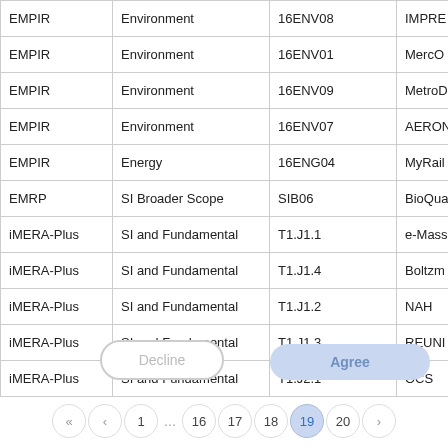| Programme | Topic | Reference | Short Name |
| --- | --- | --- | --- |
| EMPIR | Environment | 16ENV08 | IMPRE… |
| EMPIR | Environment | 16ENV01 | MercO… |
| EMPIR | Environment | 16ENV09 | MetroD… |
| EMPIR | Environment | 16ENV07 | AERON… |
| EMPIR | Energy | 16ENG04 | MyRail… |
| EMRP | SI Broader Scope | SIB06 | BioQua… |
| iMERA-Plus | SI and Fundamental | T1.J1.1 | e-Mass… |
| iMERA-Plus | SI and Fundamental | T1.J1.4 | Boltzm… |
| iMERA-Plus | SI and Fundamental | T1.J1.2 | NAH |
| iMERA-Plus | SI and Fundamental | T1.J1.3 | REUNI… |
| iMERA-Plus | SI and Fundamental | T1.J2.1 | OCS |
This website uses cookies and Matomo to understand the best statistics on our website. More info.
Decline   Agree
« ‹ 1 … 16 17 18 19 20 ›